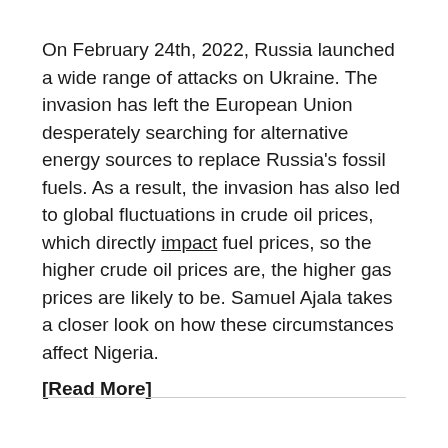On February 24th, 2022, Russia launched a wide range of attacks on Ukraine. The invasion has left the European Union desperately searching for alternative energy sources to replace Russia's fossil fuels. As a result, the invasion has also led to global fluctuations in crude oil prices, which directly impact fuel prices, so the higher crude oil prices are, the higher gas prices are likely to be. Samuel Ajala takes a closer look on how these circumstances affect Nigeria.
[Read More]